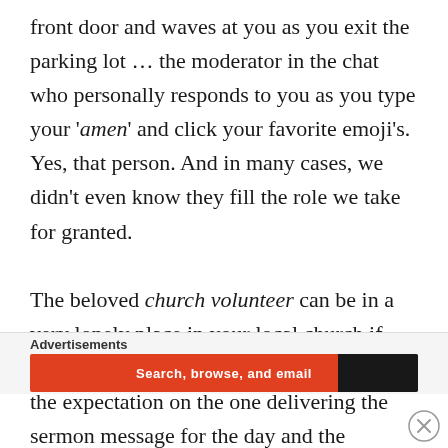front door and waves at you as you exit the parking lot … the moderator in the chat who personally responds to you as you type your 'amen' and click your favorite emoji's. Yes, that person. And in many cases, we didn't even know they fill the role we take for granted.

The beloved church volunteer can be in a very lonely place in your local church if they're forgotten or not appreciated. With the expectation on the one delivering the sermon message for the day and the musical worship team receiving instantaneous praise, your chair folding front door greeter is often the last one to be recognized. And when you think about all that you bring to church, from your
Advertisements
[Figure (other): Orange and black advertisement banner with text 'Search, browse, and email' and a dark section on the right.]